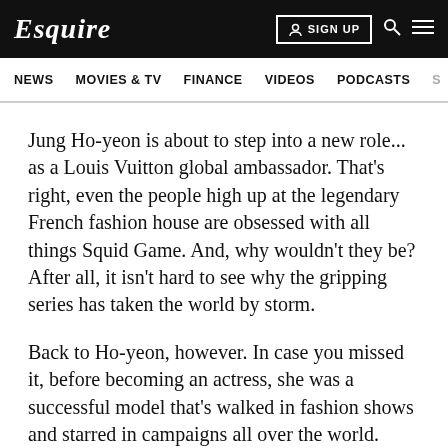Esquire | SIGN UP
NEWS  MOVIES & TV  FINANCE  VIDEOS  PODCASTS
Jung Ho-yeon is about to step into a new role... as a Louis Vuitton global ambassador. That's right, even the people high up at the legendary French fashion house are obsessed with all things Squid Game. And, why wouldn't they be? After all, it isn't hard to see why the gripping series has taken the world by storm.
Back to Ho-yeon, however. In case you missed it, before becoming an actress, she was a successful model that's walked in fashion shows and starred in campaigns all over the world. That includes